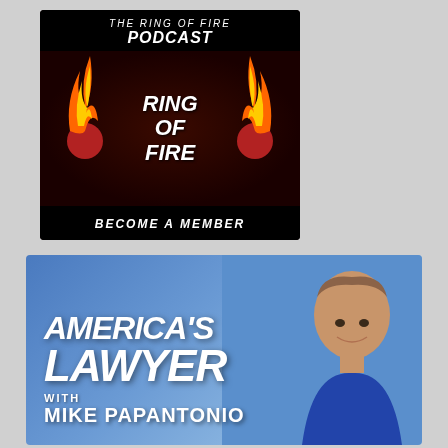[Figure (logo): Ring of Fire Podcast logo on dark red/black background with flames and text: THE RING OF FIRE PODCAST, RING OF FIRE, BECOME A MEMBER]
[Figure (illustration): America's Lawyer with Mike Papantonio banner: blue background with man's headshot on right side, white bold italic text on left reading AMERICA'S LAWYER with MIKE PAPANTONIO]